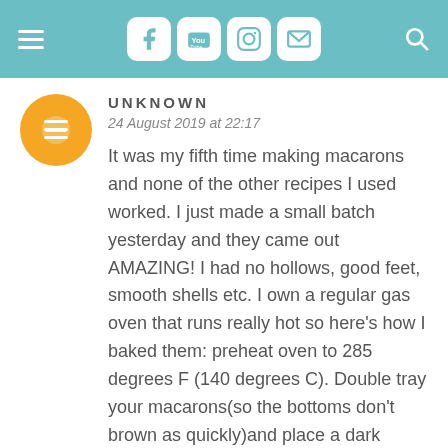Navigation and social media header bar
UNKNOWN
24 August 2019 at 22:17
It was my fifth time making macarons and none of the other recipes I used worked. I just made a small batch yesterday and they came out AMAZING! I had no hollows, good feet, smooth shells etc. I own a regular gas oven that runs really hot so here's how I baked them: preheat oven to 285 degrees F (140 degrees C). Double tray your macarons(so the bottoms don't brown as quickly)and place a dark baking sheet on the rack above the